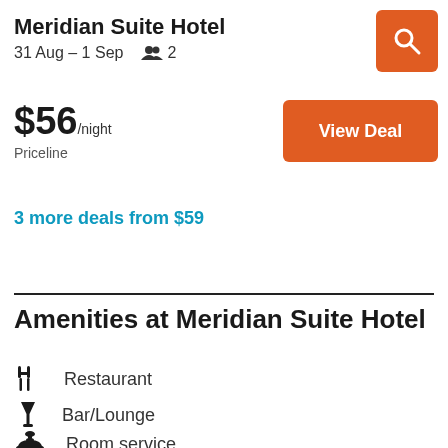Meridian Suite Hotel
31 Aug – 1 Sep   👥 2
$56/night Priceline
View Deal
3 more deals from $59
Amenities at Meridian Suite Hotel
Restaurant
Bar/Lounge
Room service